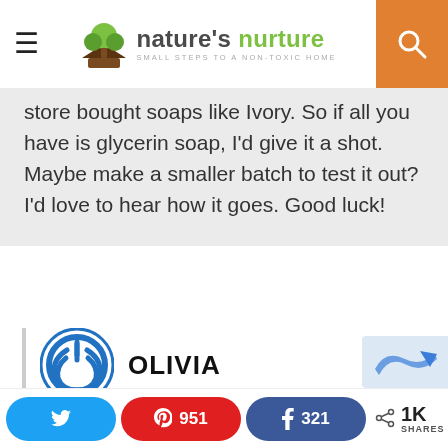nature's nurture — SMALL STEPS TO A NON-TOXIC HOME
store bought soaps like Ivory. So if all you have is glycerin soap, I'd give it a shot. Maybe make a smaller batch to test it out? I'd love to hear how it goes. Good luck!
OLIVIA
Sarah, I have a question.
951 | 321 | 1K SHARES